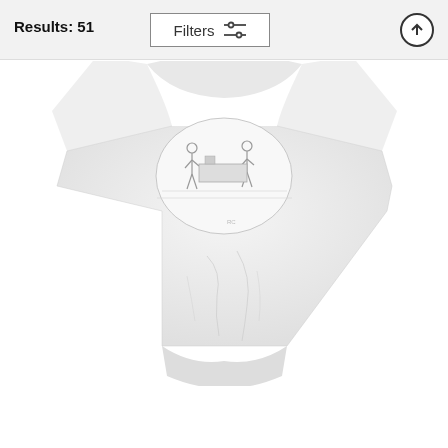Results: 51
Filters
[Figure (photo): A white T-shirt with a New Yorker-style cartoon printed on the front, hanging and draped. The cartoon shows people in an office/kitchen scene.]
Another Day In The Salt Mines
Roz Chast
$35